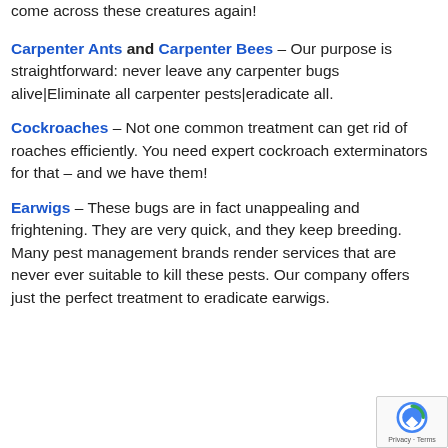come across these creatures again!
Carpenter Ants and Carpenter Bees – Our purpose is straightforward: never leave any carpenter bugs alive|Eliminate all carpenter pests|eradicate all.
Cockroaches – Not one common treatment can get rid of roaches efficiently. You need expert cockroach exterminators for that – and we have them!
Earwigs – These bugs are in fact unappealing and frightening. They are very quick, and they keep breeding. Many pest management brands render services that are never ever suitable to kill these pests. Our company offers just the perfect treatment to eradicate earwigs.